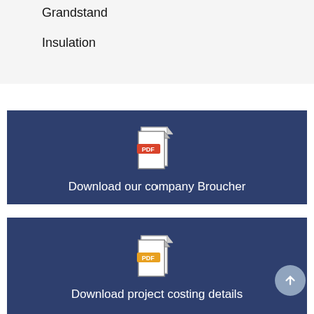Grandstand
Insulation
[Figure (illustration): PDF file icon with red PDF badge label]
Download our company Broucher
[Figure (illustration): PDF file icon with orange/yellow PDF badge label]
Download project costing details